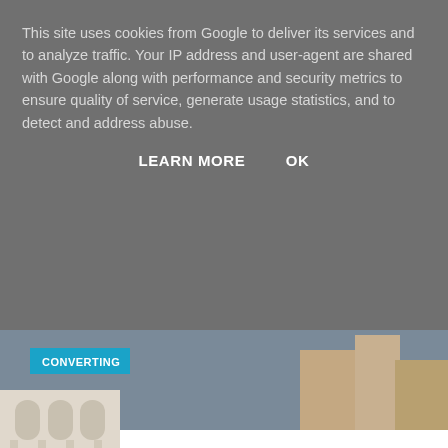This site uses cookies from Google to deliver its services and to analyze traffic. Your IP address and user-agent are shared with Google along with performance and security metrics to ensure quality of service, generate usage statistics, and to detect and address abuse.
LEARN MORE    OK
[Figure (photo): Aerial/ground-level photo of Mecca's Grand Mosque plaza crowded with pilgrims in white garments, with large arched buildings and skyscrapers in background]
CONVERTING
✩ My Hajj Journey in 2005: A Photo Journal part 1
August 08, 2020
[Figure (photo): Photo of green trees and park-like outdoor setting with a person visible in the lower portion]
FAITH-SCHOOLS